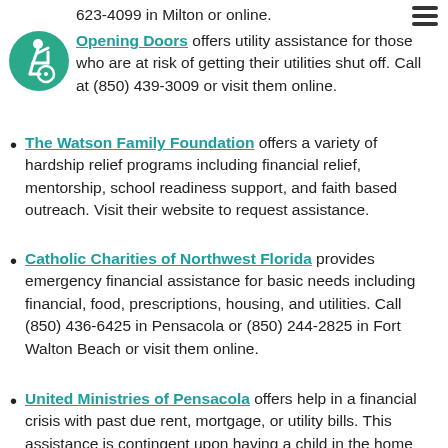623-4099 in Milton or online.
Opening Doors offers utility assistance for those who are at risk of getting their utilities shut off. Call at (850) 439-3009 or visit them online.
The Watson Family Foundation offers a variety of hardship relief programs including financial relief, mentorship, school readiness support, and faith based outreach. Visit their website to request assistance.
Catholic Charities of Northwest Florida provides emergency financial assistance for basic needs including financial, food, prescriptions, housing, and utilities. Call (850) 436-6425 in Pensacola or (850) 244-2825 in Fort Walton Beach or visit them online.
United Ministries of Pensacola offers help in a financial crisis with past due rent, mortgage, or utility bills. This assistance is contingent upon having a child in the home under the age of 18. Call their office in Pensacola (850) 433-2333 or online.
Northwest Florida Area on Aging provides assistance with home energy costs for those